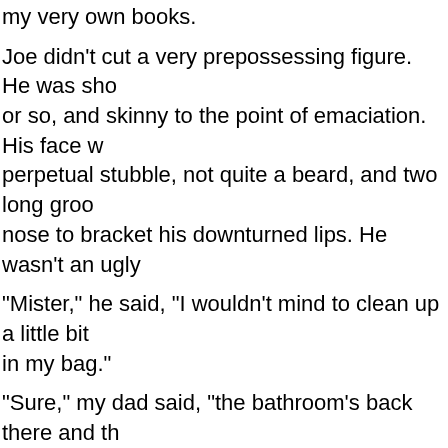my very own books.
Joe didn't cut a very prepossessing figure. He was sho or so, and skinny to the point of emaciation. His face w perpetual stubble, not quite a beard, and two long groo nose to bracket his downturned lips. He wasn't an ugly
“Mister,” he said, “I wouldn't mind to clean up a little bit in my bag.”
“Sure,” my dad said, “the bathroom’s back there and th razor in the drawer, you're welcome to take it.”
My little brother, ensconced next to the tree and fairly v called “Christmas fever,” piped up. “Yuh better take a le hands, or she'll be after yuh.”
When Joe came back the transformation was amazing clean-shaven, and his short, wiry gray hair was slicked might have been almost as young as my dad.
He sat again, almost glowing, across from the book sta warmth and I could see a look in his eyes that said he